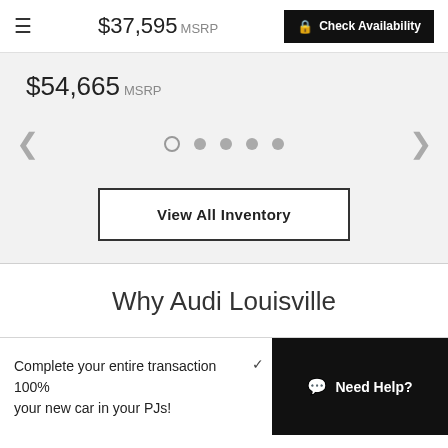$37,595 MSRP  Check Availability
$54,665 MSRP
[Figure (other): Carousel navigation with left/right arrows and 5 dots (first dot is open circle, rest filled)]
View All Inventory
Why Audi Louisville
Complete your entire transaction 100% your new car in your PJs!
Need Help?